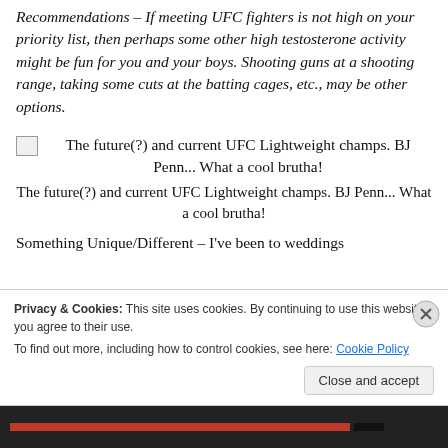Recommendations – If meeting UFC fighters is not high on your priority list, then perhaps some other high testosterone activity might be fun for you and your boys. Shooting guns at a shooting range, taking some cuts at the batting cages, etc., may be other options.
[Figure (photo): Broken image placeholder with inline title text: The future(?) and current UFC Lightweight champs. BJ Penn... What a cool brutha!]
The future(?) and current UFC Lightweight champs. BJ Penn... What a cool brutha!
Something Unique/Different – I've been to weddings
Privacy & Cookies: This site uses cookies. By continuing to use this website, you agree to their use. To find out more, including how to control cookies, see here: Cookie Policy
Close and accept